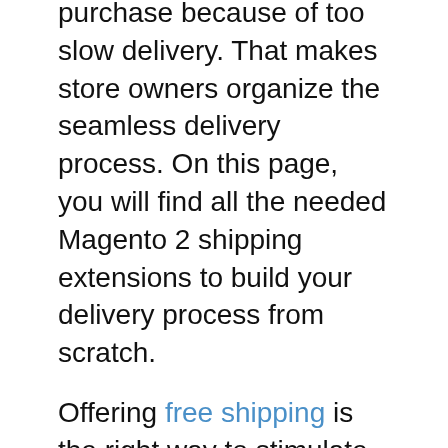purchase because of too slow delivery. That makes store owners organize the seamless delivery process. On this page, you will find all the needed Magento 2 shipping extensions to build your delivery process from scratch.
Offering free shipping is the right way to stimulate customers to purchase more. Almost 80% of US customers say that free delivery may be one of the top reasons to shop online.
But if free shipping isn't your option, let your customers choose the delivery date and time. 52% of users appreciate guaranteed delivery date more than free shipping options.
More than 60% of customers think that shipping cost is the worst part of online shopping, and it is an important factor for purchasing decisions. To prevent cart abandonment because of too high delivery cost, create a flexible system of shipping